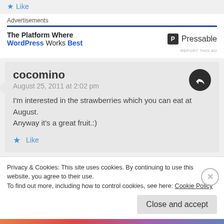Like
Advertisements
[Figure (other): Pressable advertisement: 'The Platform Where WordPress Works Best' with Pressable logo]
cocomino
August 25, 2011 at 2:02 pm

I'm interested in the strawberries which you can eat at August.
Anyway it's a great fruit.:)

Like
Privacy & Cookies: This site uses cookies. By continuing to use this website, you agree to their use.
To find out more, including how to control cookies, see here: Cookie Policy
Close and accept